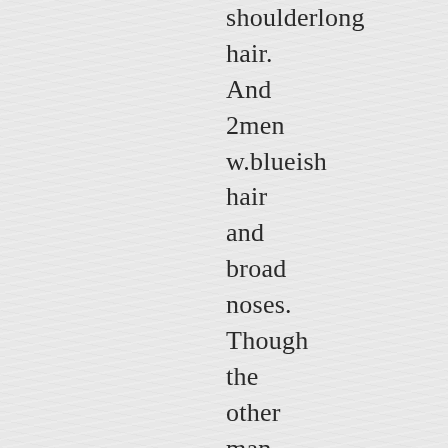shoulderlong hair. And 2men w.blueish hair and broad noses. Though the other man was more of europeish face type.

Inside he...